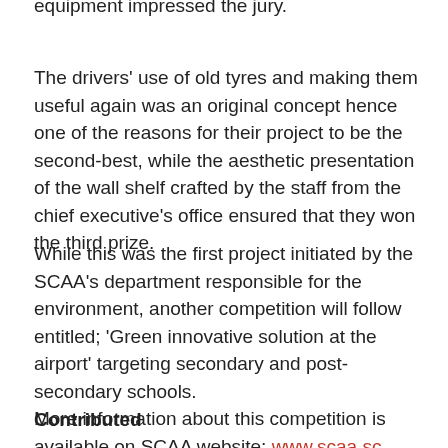equipment impressed the jury.
The drivers' use of old tyres and making them useful again was an original concept hence one of the reasons for their project to be the second-best, while the aesthetic presentation of the wall shelf crafted by the staff from the chief executive's office ensured that they won the third prize.
While this was the first project initiated by the SCAA's department responsible for the environment, another competition will follow entitled; 'Green innovative solution at the airport' targeting secondary and post-secondary schools.
More information about this competition is available on SCAA website; www.scaa.sc
Contributed